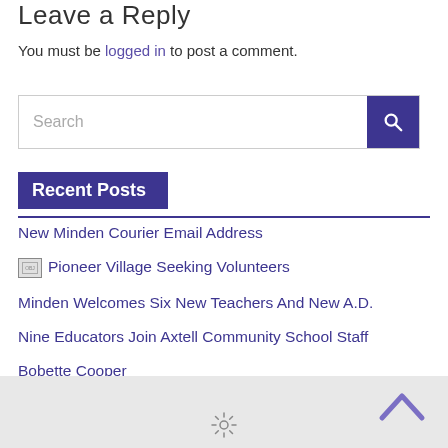Leave a Reply
You must be logged in to post a comment.
[Figure (other): Search input box with purple search button containing a magnifying glass icon]
Recent Posts
New Minden Courier Email Address
Pioneer Village Seeking Volunteers
Minden Welcomes Six New Teachers And New A.D.
Nine Educators Join Axtell Community School Staff
Bobette Cooper
[Figure (other): Gray footer area with purple up-arrow chevron on right and sun/loading icon at bottom center]